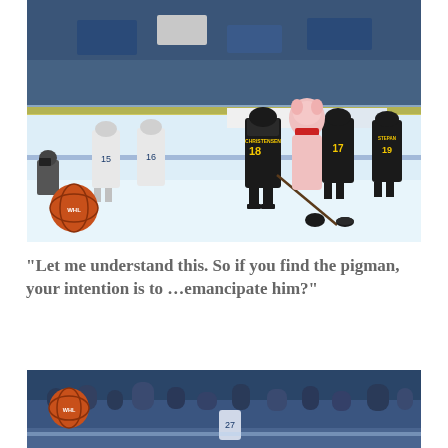[Figure (photo): Hockey players on ice rink during a game or event. Players in black jerseys with numbers 18 (CHRISTENSEN) and 19 (STEPAN), and white jerseys on the opposing team. A mascot in a pink/white pig costume is visible. A globe-shaped logo appears in the lower left of the photo.]
“Let me understand this. So if you find the pigman, your intention is to …emancipate him?”
[Figure (photo): Crowd of spectators in an arena watching a hockey game. A globe-shaped logo appears in the lower left of the photo.]